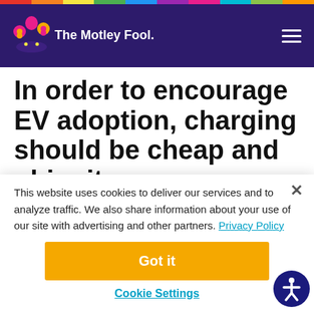The Motley Fool
In order to encourage EV adoption, charging should be cheap and ubiquitous.
Many electric-vehicle (EV) start-ups have gone
This website uses cookies to deliver our services and to analyze traffic. We also share information about your use of our site with advertising and other partners. Privacy Policy
Got it
Cookie Settings